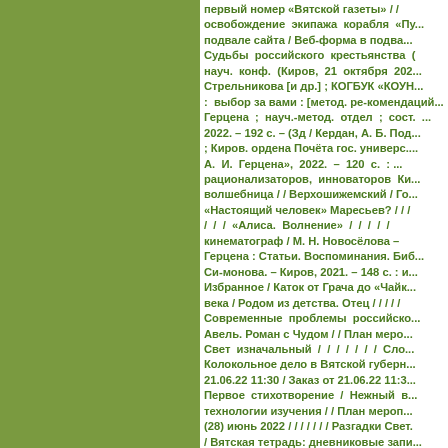первый номер «Вятской газеты» / / освобождение экипажа корабля «Пу... / подвале сайта / Веб-форма в подва... / Судьбы российского крестьянства ( науч. конф. (Киров, 21 октября 202... Стрельникова [и др.] ; КОГБУК «КОУН... : выбор за вами : [метод. ре-комендаций... Герцена ; науч.-метод. отдел ; сост. ... 2022. – 192 с. – (Зд / Кердан, А. Б. Под... ; Киров. ордена Почёта гос. универс. ... А. И. Герцена», 2022. – 120 с. : ... рационализаторов, инноваторов Ки... волшебница / / Верхошижемский / Го... «Настоящий человек» Маресьев? / / / / / / «Алиса. Волнение» / / / / / кинематограф / М. Н. Новосёлова – Герцена : Статьи. Воспоминания. Биб... Си-монова. – Киров, 2021. – 148 с. : и... Избранное / Каток от Грача до «Чайк... века / Родом из детства. Отец / / / / / Современные проблемы российско... Авель. Роман с Чудом / / План меро... Свет изначальный / / / / / / / Сло... Колокольное дело в Вятской губерн... 21.06.22 11:30 / Заказ от 21.06.22 11:3... Первое стихотворение / Нежный в... технологии изучения / / План мероп... (28) июнь 2022 / / / / / / / Разгадки Свет. / Вятская тетрадь: дневниковые запи... от 19.07.22 12:31 / Заказ от 19.07.22 12... / Структура и развитие смыслоро...